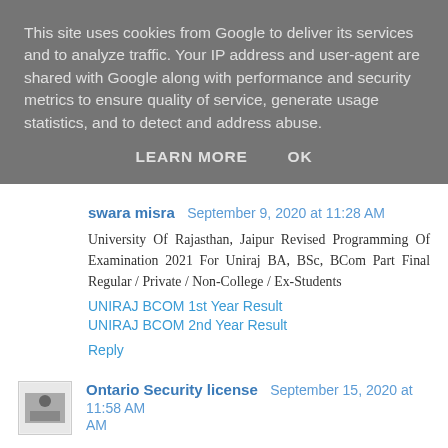This site uses cookies from Google to deliver its services and to analyze traffic. Your IP address and user-agent are shared with Google along with performance and security metrics to ensure quality of service, generate usage statistics, and to detect and address abuse.
LEARN MORE   OK
swara misra  September 9, 2020 at 11:28 AM
University Of Rajasthan, Jaipur Revised Programming Of Examination 2021 For Uniraj BA, BSc, BCom Part Final Regular / Private / Non-College / Ex-Students
UNIRAJ BCOM 1st Year Result
UNIRAJ BCOM 2nd Year Result
Reply
Ontario Security license  September 15, 2020 at 11:58 AM